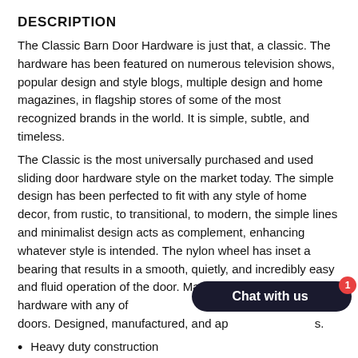DESCRIPTION
The Classic Barn Door Hardware is just that, a classic. The hardware has been featured on numerous television shows, popular design and style blogs, multiple design and home magazines, in flagship stores of some of the most recognized brands in the world. It is simple, subtle, and timeless.
The Classic is the most universally purchased and used sliding door hardware style on the market today. The simple design has been perfected to fit with any style of home decor, from rustic, to transitional, to modern, the simple lines and minimalist design acts as complement, enhancing whatever style is intended. The nylon wheel has inset a bearing that results in a smooth, quietly, and incredibly easy and fluid operation of the door. Match this classic barn door hardware with any of doors. Designed, manufactured, and ap s.
Heavy duty construction
Safer & reliable with black powder coated